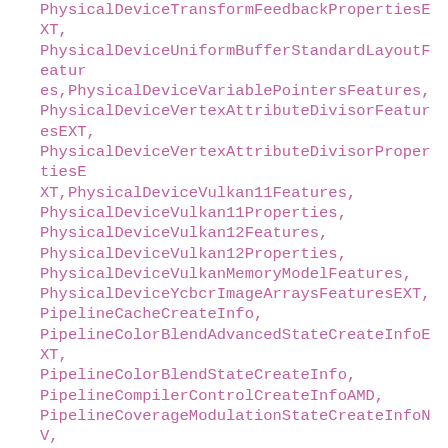PhysicalDeviceTransformFeedbackPropertiesEXT, PhysicalDeviceUniformBufferStandardLayoutFeatures, PhysicalDeviceVariablePointersFeatures, PhysicalDeviceVertexAttributeDivisorFeaturesEXT, PhysicalDeviceVertexAttributeDivisorPropertiesEXT, PhysicalDeviceVulkan11Features, PhysicalDeviceVulkan11Properties, PhysicalDeviceVulkan12Features, PhysicalDeviceVulkan12Properties, PhysicalDeviceVulkanMemoryModelFeatures, PhysicalDeviceYcbcrImageArraysFeaturesEXT, PipelineCacheCreateInfo, PipelineColorBlendAdvancedStateCreateInfoEXT, PipelineColorBlendStateCreateInfo, PipelineCompilerControlCreateInfoAMD, PipelineCoverageModulationStateCreateInfoNV, PipelineCoverageReductionStateCreateInfoNV, PipelineCoverageToColorStateCreateInfoNV, PipelineCreationFeedbackCreateInfoEXT, PipelineDepthStencilStateCreateInfo, PipelineDiscardRectangleStateCreateInfoEXT, PipelineDynamicStateCreateInfo, PipelineExecutableInfoKHR